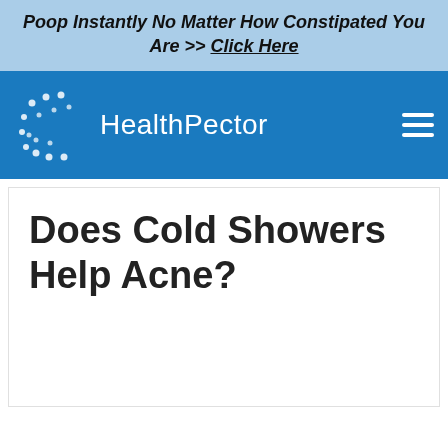Poop Instantly No Matter How Constipated You Are >> Click Here
[Figure (logo): HealthPector website logo with blue navigation bar and hamburger menu icon]
Does Cold Showers Help Acne?